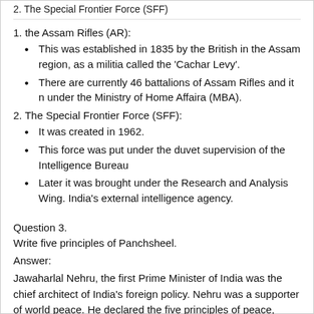2. The Special Frontier Force (SFF)
1. the Assam Rifles (AR):
This was established in 1835 by the British in the Assam region, as a militia called the 'Cachar Levy'.
There are currently 46 battalions of Assam Rifles and it n under the Ministry of Home Affaira (MBA).
2. The Special Frontier Force (SFF):
It was created in 1962.
This force was put under the duvet supervision of the Intelligence Bureau
Later it was brought under the Research and Analysis Wing. India's external intelligence agency.
Question 3.
Write five principles of Panchsheel.
Answer:
Jawaharlal Nehru, the first Prime Minister of India was the chief architect of India's foreign policy. Nehru was a supporter of world peace. He declared the five principles of peace, known as